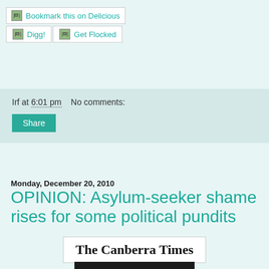[Figure (screenshot): Social sharing buttons: Delicious bookmark button, Digg and Get Flocked buttons]
Irf at 6:01 pm   No comments:
Share
Monday, December 20, 2010
OPINION: Asylum-seeker shame rises for some political pundits
[Figure (logo): The Canberra Times logo in blackletter/gothic font]
[Figure (photo): Partially visible photograph at bottom of page]